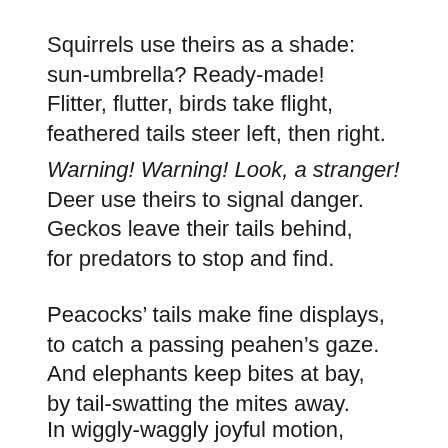Squirrels use theirs as a shade:
sun-umbrella? Ready-made!
Flitter, flutter, birds take flight,
feathered tails steer left, then right.
Warning! Warning! Look, a stranger!
Deer use theirs to signal danger.
Geckos leave their tails behind,
for predators to stop and find.
Peacocks’ tails make fine displays,
to catch a passing peahen’s gaze.
And elephants keep bites at bay,
by tail-swatting the mites away.
In wiggly-waggly joyful motion,
dogs use theirs to show emotion.